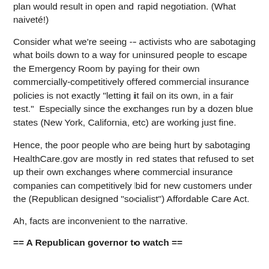plan would result in open and rapid negotiation. (What naiveté!)
Consider what we're seeing -- activists who are sabotaging what boils down to a way for uninsured people to escape the Emergency Room by paying for their own commercially-competitively offered commercial insurance policies is not exactly "letting it fail on its own, in a fair test."  Especially since the exchanges run by a dozen blue states (New York, California, etc) are working just fine.
Hence, the poor people who are being hurt by sabotaging HealthCare.gov are mostly in red states that refused to set up their own exchanges where commercial insurance companies can competitively bid for new customers under the (Republican designed "socialist") Affordable Care Act.
Ah, facts are inconvenient to the narrative.
== A Republican governor to watch ==